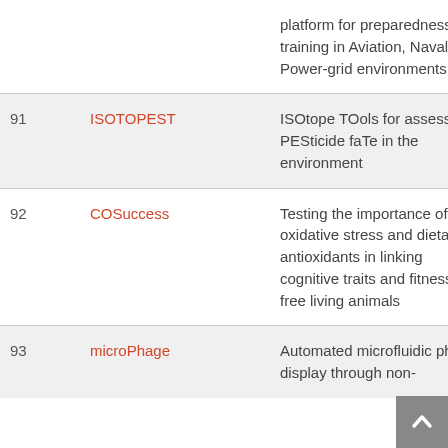| # | Name | Description |  |
| --- | --- | --- | --- |
|  |  | platform for preparedness training in Aviation, Naval and Power-grid environments | 2 |
| 91 | ISOTOPEST | ISOtope TOols for assessing PESticide faTe in the environment | 2 |
| 92 | COSuccess | Testing the importance of oxidative stress and dietary antioxidants in linking cognitive traits and fitness in free living animals | 2 |
| 93 | microPhage | Automated microfluidic phage display through non- | 2 |